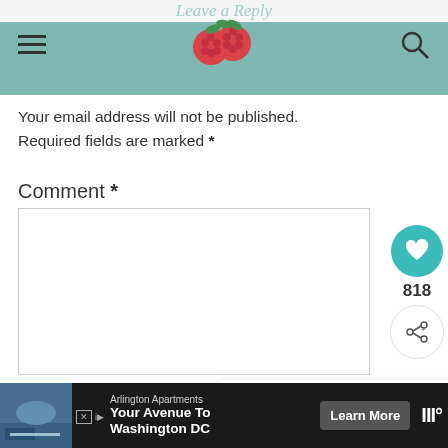Leave a Reply
Your email address will not be published. Required fields are marked *
Comment *
[Figure (screenshot): Comment text area input box (empty)]
[Figure (infographic): Heart/like button with count 818 and share button]
[Figure (infographic): What's Next card showing Triple Chocolate... with cookie image]
Name *
[Figure (infographic): Advertisement banner: Arlington Apartments - Your Avenue To Washington DC - Learn More button with Monocle logo]